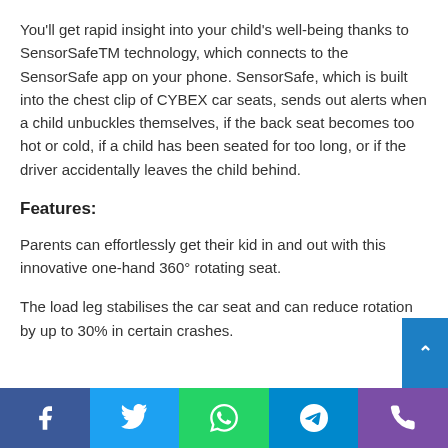You'll get rapid insight into your child's well-being thanks to SensorSafeTM technology, which connects to the SensorSafe app on your phone. SensorSafe, which is built into the chest clip of CYBEX car seats, sends out alerts when a child unbuckles themselves, if the back seat becomes too hot or cold, if a child has been seated for too long, or if the driver accidentally leaves the child behind.
Features:
Parents can effortlessly get their kid in and out with this innovative one-hand 360° rotating seat.
The load leg stabilises the car seat and can reduce rotation by up to 30% in certain crashes.
[Figure (other): Social share bar at the bottom with Facebook, Twitter, WhatsApp, Telegram, and Phone icons]